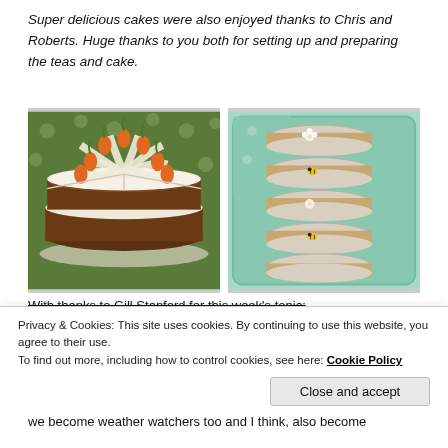Super delicious cakes were also enjoyed thanks to Chris and Roberts. Huge thanks to you both for setting up and preparing the teas and cake.
[Figure (photo): Left: A round carrot cake decorated with cream cheese frosting swirls and orange carrot decorations on a green polka-dot tablecloth.]
[Figure (photo): Right: Individual rectangular cake slices decorated with flower and bee fondant decorations arranged in a mint green tray.]
With thanks to Gill Stanford for this week's topic:
Privacy & Cookies: This site uses cookies. By continuing to use this website, you agree to their use.
To find out more, including how to control cookies, see here: Cookie Policy
Close and accept
we become weather watchers too and I think, also become